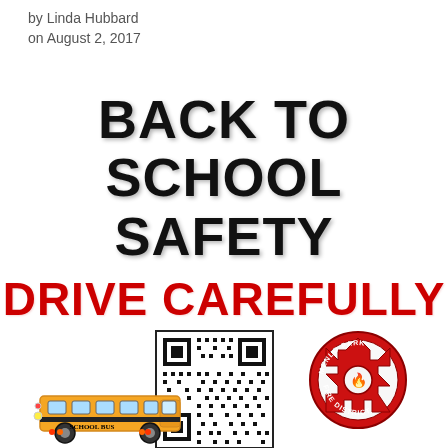by Linda Hubbard
on August 2, 2017
BACK TO SCHOOL SAFETY
DRIVE CAREFULLY
[Figure (other): QR code with 'SCAN ME' label below]
[Figure (logo): Menlo Park Fire District circular badge logo with red maltese cross]
[Figure (illustration): School bus illustration at bottom left]